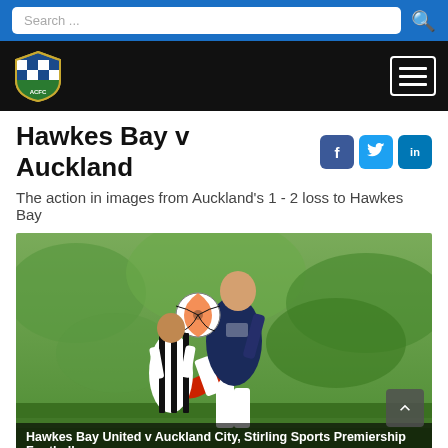Search ...
[Figure (logo): ACFC football club logo on black navigation bar with hamburger menu icon]
Hawkes Bay v Auckland
The action in images from Auckland's 1 - 2 loss to Hawkes Bay
[Figure (photo): Football match action photo: player in dark blue kit kicking ball high, another player in black and white stripes in background. Caption: Hawkes Bay United v Auckland City, Stirling Sports Premiership Football]